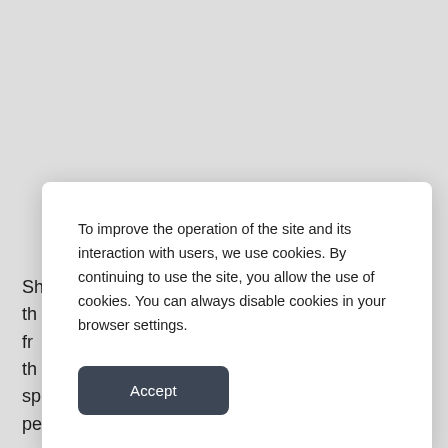SI... th... fr... n th... sp... people more than 500 million hryvnia.
To improve the operation of the site and its interaction with users, we use cookies. By continuing to use the site, you allow the use of cookies. You can always disable cookies in your browser settings.